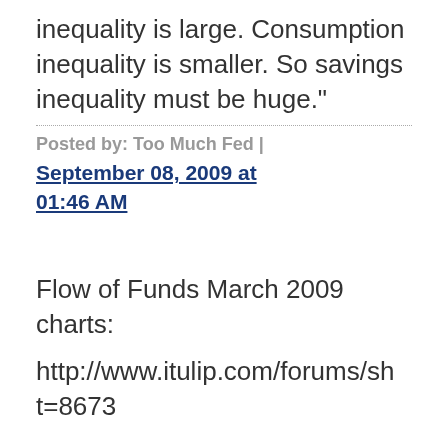inequality is large. Consumption inequality is smaller. So savings inequality must be huge."
Posted by: Too Much Fed | September 08, 2009 at 01:46 AM
Flow of Funds March 2009 charts:
http://www.itulip.com/forums/sh t=8673
,
Flow of Funds Q4 2008 charts:
http://www.itulip.com/forums/sh